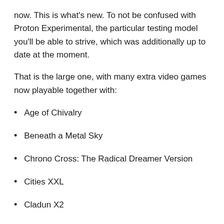now. This is what's new. To not be confused with Proton Experimental, the particular testing model you'll be able to strive, which was additionally up to date at the moment.
That is the large one, with many extra video games now playable together with:
Age of Chivalry
Beneath a Metal Sky
Chrono Cross: The Radical Dreamer Version
Cities XXL
Cladun X2